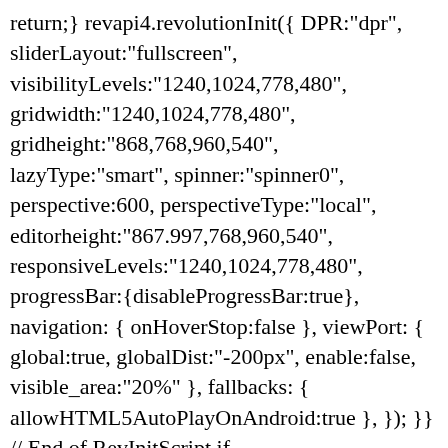return;} revapi4.revolutionInit({ DPR:"dpr", sliderLayout:"fullscreen", visibilityLevels:"1240,1024,778,480", gridwidth:"1240,1024,778,480", gridheight:"868,768,960,540", lazyType:"smart", spinner:"spinner0", perspective:600, perspectiveType:"local", editorheight:"867.997,768,960,540", responsiveLevels:"1240,1024,778,480", progressBar:{disableProgressBar:true}, navigation: { onHoverStop:false }, viewPort: { global:true, globalDist:"-200px", enable:false, visible_area:"20%" }, fallbacks: { allowHTML5AutoPlayOnAndroid:true }, }); }} // End of RevInitScript if (window.RS_MODULES.checkMinimal!==undefi { window.RS_MODULES.checkMinimal();}; (script)